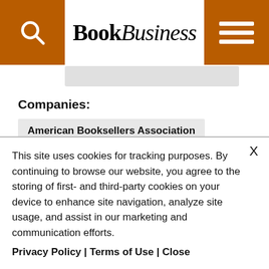BookBusiness
Companies:
American Booksellers Association
Second Life
The New York Times
People:
Marcia Layton Turner
Stephanie Meyer
This site uses cookies for tracking purposes. By continuing to browse our website, you agree to the storing of first- and third-party cookies on your device to enhance site navigation, analyze site usage, and assist in our marketing and communication efforts. Privacy Policy | Terms of Use | Close